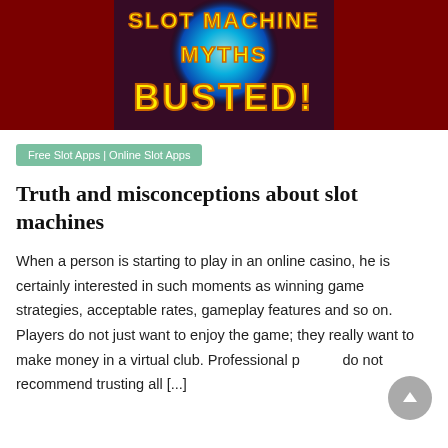[Figure (photo): Colorful promotional banner image with text 'Slot Machine Myths Busted!' in large yellow bold letters on a dark red/casino background with neon glow effects]
Free Slot Apps | Online Slot Apps
Truth and misconceptions about slot machines
When a person is starting to play in an online casino, he is certainly interested in such moments as winning game strategies, acceptable rates, gameplay features and so on. Players do not just want to enjoy the game; they really want to make money in a virtual club. Professional players do not recommend trusting all [...]